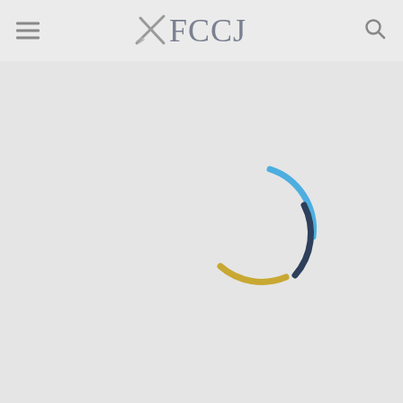[Figure (logo): FCCJ logo with crossed pen/sword icon and text FCCJ in gray serif font]
[Figure (other): Loading spinner animation with three curved arcs in blue, dark navy, and gold/yellow colors, on a light gray background]